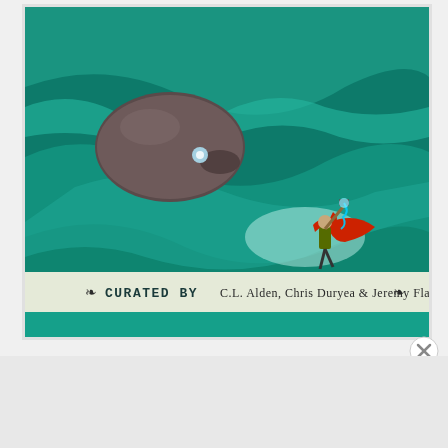[Figure (illustration): Fantasy illustration showing a caped hero figure wielding a glowing weapon against a giant creature in a teal/green cave environment with yellow sky. A banner reads 'CURATED BY C.L. Alden, Chris Duryea & Jeremy Flagg'.]
Advertisements
[Figure (screenshot): WordPress.com advertisement banner with blue background, WordPress logo and text, and a pink 'Build Your Website' button.]